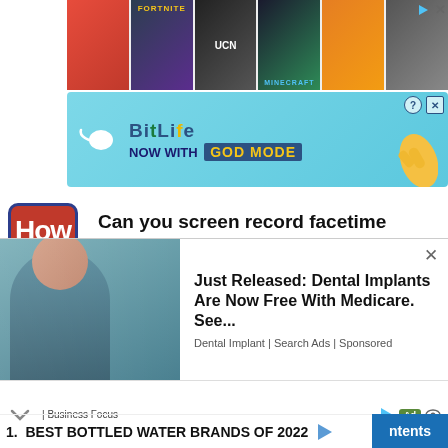[Figure (screenshot): Top ad banner row with game icons: Subway Surfers, Fortnite, UCN, Minecraft, another game, and a partial icon. Blue play and X close buttons at top right.]
[Figure (screenshot): BitLife 'NOW WITH GOD MODE' advertisement banner on teal/cyan background with pointing hand graphic.]
Can you screen record facetime
Query  query
4  Top 10 Water Heaters
5  Walmart Hidden Clearance Deals
[Figure (screenshot): Dental implant ad overlay: photo of smiling woman outdoors, text 'Just Released: Dental Implants Are Now Free With Medicare. See...' Dental Implant | Search Ads | Sponsored]
[Figure (screenshot): Bottom bar ad: chevron down, Business Focus label, play/Ad/eye icons, '1. BEST BOTTLED WATER BRANDS OF 2022' with arrow, blue 'ntents' button]